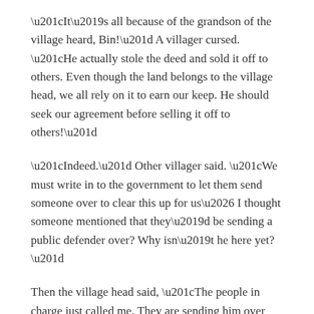“It’s all because of the grandson of the village heard, Bin!” A villager cursed. “He actually stole the deed and sold it off to others. Even though the land belongs to the village head, we all rely on it to earn our keep. He should seek our agreement before selling it off to others!”
“Indeed.” Other villager said. “We must write in to the government to let them send someone over to clear this up for us… I thought someone mentioned that they’d be sending a public defender over? Why isn’t he here yet?”
Then the village head said, “The people in charge just called me. They are sending him over tomorrow.”